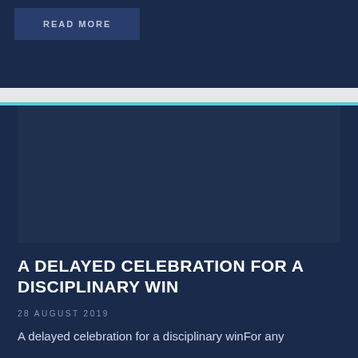READ MORE
[Figure (illustration): Dark navy blue image/photo area within article card]
A DELAYED CELEBRATION FOR A DISCIPLINARY WIN
28 AUGUST 2019
A delayed celebration for a disciplinary winFor any